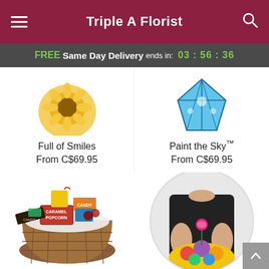Triple A Florist
FREE Same Day Delivery ends in: 03 : 56 : 36
Full of Smiles
From C$69.95
Paint the Sky™
From C$69.95
[Figure (photo): Gift basket filled with caramel popcorn, candy, chocolates and snacks in a woven basket]
[Figure (photo): Person in black shirt holding a pink rose and a colorful flower bouquet, shown in a circular crop]